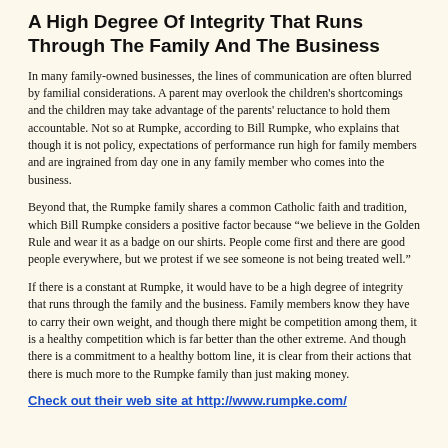A High Degree Of Integrity That Runs Through The Family And The Business
In many family-owned businesses, the lines of communication are often blurred by familial considerations. A parent may overlook the children's shortcomings and the children may take advantage of the parents' reluctance to hold them accountable. Not so at Rumpke, according to Bill Rumpke, who explains that though it is not policy, expectations of performance run high for family members and are ingrained from day one in any family member who comes into the business.
Beyond that, the Rumpke family shares a common Catholic faith and tradition, which Bill Rumpke considers a positive factor because “we believe in the Golden Rule and wear it as a badge on our shirts. People come first and there are good people everywhere, but we protest if we see someone is not being treated well.”
If there is a constant at Rumpke, it would have to be a high degree of integrity that runs through the family and the business. Family members know they have to carry their own weight, and though there might be competition among them, it is a healthy competition which is far better than the other extreme. And though there is a commitment to a healthy bottom line, it is clear from their actions that there is much more to the Rumpke family than just making money.
Check out their web site at http://www.rumpke.com/